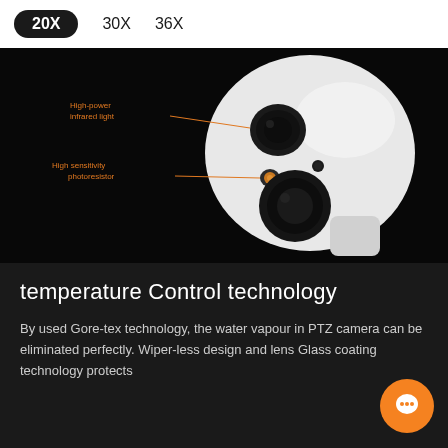20X
30X
36X
[Figure (photo): PTZ security camera with white body on black background, showing two lenses. Orange callout labels identify 'High-power infrared light' pointing to top lens and 'High sensitivity photoresistor' pointing to a sensor element.]
temperature Control technology
By used Gore-tex technology, the water vapour in PTZ camera can be eliminated perfectly. Wiper-less design and lens Glass coating technology protects